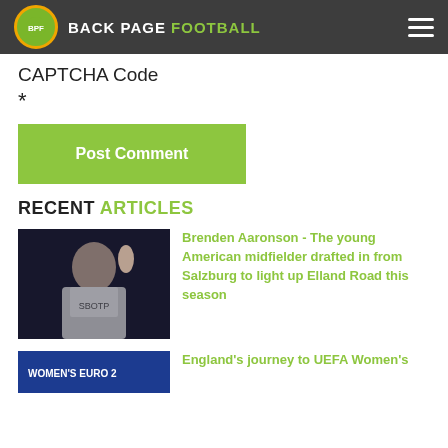BACK PAGE FOOTBALL
CAPTCHA Code
*
Post Comment
RECENT ARTICLES
[Figure (photo): Brenden Aaronson player photo waving in Leeds United kit]
Brenden Aaronson - The young American midfielder drafted in from Salzburg to light up Elland Road this season
[Figure (photo): Women's Euro 2022 banner/crowd photo]
England's journey to UEFA Women's